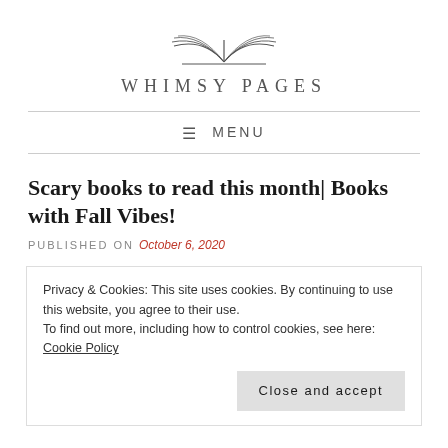[Figure (logo): Whimsy Pages logo: open book illustration with text WHIMSY PAGES below in spaced uppercase serif letters]
≡ MENU
Scary books to read this month| Books with Fall Vibes!
PUBLISHED ON October 6, 2020
Privacy & Cookies: This site uses cookies. By continuing to use this website, you agree to their use.
To find out more, including how to control cookies, see here: Cookie Policy
Close and accept